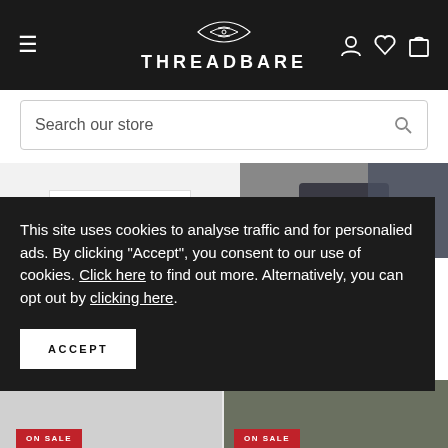THREADBARE
Search our store
[Figure (screenshot): Product images strip showing Threadbare branded packaging on the left and a Silver Goose branded dark t-shirt on the right]
This site uses cookies to analyse traffic and for personalied ads. By clicking "Accept", you consent to our use of cookies. Click here to find out more. Alternatively, you can opt out by clicking here.
ACCEPT
[Figure (screenshot): Bottom product thumbnails with ON SALE badges in red]